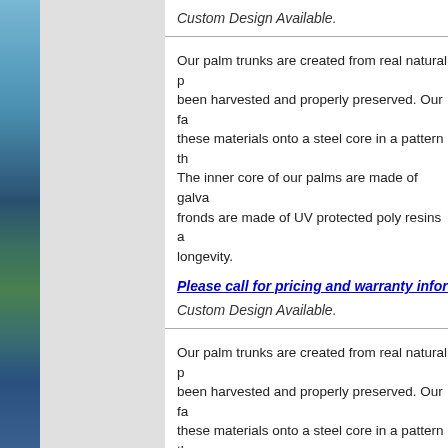Custom Design Available.
Our palm trunks are created from real natural p... been harvested and properly preserved. Our fa... these materials onto a steel core in a pattern th... The inner core of our palms are made of galva... fronds are made of UV protected poly resins a... longevity.
Please call for pricing and warranty informa...
Custom Design Available.
Our palm trunks are created from real natural p... been harvested and properly preserved. Our fa... these materials onto a steel core in a pattern th... The inner core of our palms are made of galva... fronds are made of UV protected poly resins a... longevity.